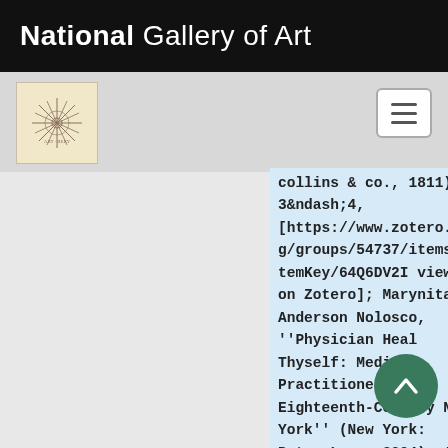National Gallery of Art
[Figure (logo): Small decorative stamp/seal logo with starburst pattern on cream background]
collins & co., 1811), 3&ndash;4, [https://www.zotero.org/groups/54737/items/itemKey/64Q6DV2I view on Zotero]; Marynita Anderson Nolosco, ''Physician Heal Thyself: Medical Practitioners of Eighteenth-Century New York'' (New York: Peter Lang, 2004), 14, 87&ndash;88, 119&ndash;20, 125 [https://www.zotero.org/groups/54737/items/itemKey/BHB3MD5Z view